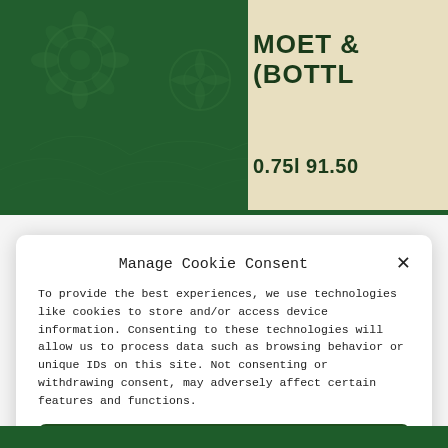[Figure (illustration): Dark green floral/damask patterned background in upper left portion of the page]
MOET & (BOTTL
0.75l 91.50
Manage Cookie Consent
To provide the best experiences, we use technologies like cookies to store and/or access device information. Consenting to these technologies will allow us to process data such as browsing behavior or unique IDs on this site. Not consenting or withdrawing consent, may adversely affect certain features and functions.
Accept
Deny
View preferences
Data protection   imprint